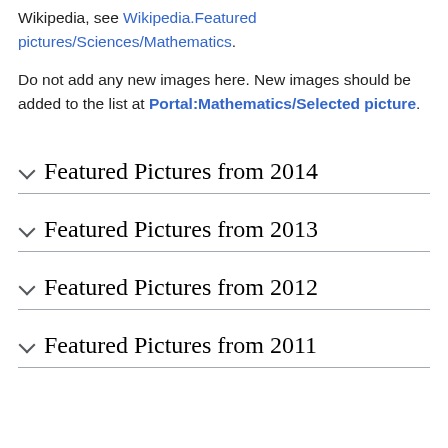Wikipedia, see Wikipedia.Featured pictures/Sciences/Mathematics.
Do not add any new images here. New images should be added to the list at Portal:Mathematics/Selected picture.
Featured Pictures from 2014
Featured Pictures from 2013
Featured Pictures from 2012
Featured Pictures from 2011